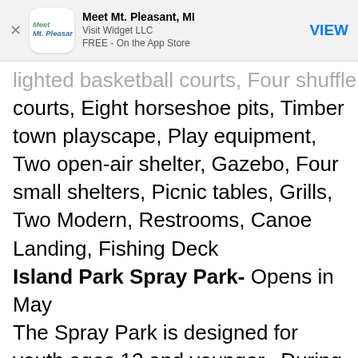Meet Mt. Pleasant, MI | Visit Widget LLC | FREE - On the App Store | VIEW
lighted basketball courts, Four shuffleboard courts, Eight horseshoe pits, Timber town playscape, Play equipment, Two open-air shelter, Gazebo, Four small shelters, Picnic tables, Grills, Two Modern, Restrooms, Canoe Landing, Fishing Deck
Island Park Spray Park- Opens in May
The Spray Park is designed for youth ages 12 and younger.  During the hours of operation when the water is available, park users will press an activator to start the flow of water. After approximately 4 – 5 minutes the cycle completes and the water stops. Park users continue to re-activate the system for endless